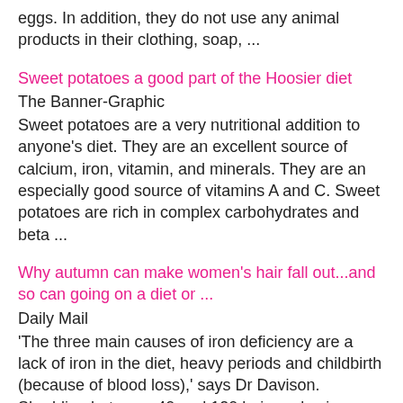eggs. In addition, they do not use any animal products in their clothing, soap, ...
Sweet potatoes a good part of the Hoosier diet
The Banner-Graphic
Sweet potatoes are a very nutritional addition to anyone's diet. They are an excellent source of calcium, iron, vitamin, and minerals. They are an especially good source of vitamins A and C. Sweet potatoes are rich in complex carbohydrates and beta ...
Why autumn can make women's hair fall out...and so can going on a diet or ...
Daily Mail
'The three main causes of iron deficiency are a lack of iron in the diet, heavy periods and childbirth (because of blood loss),' says Dr Davison. Shedding between 40 and 120 hairs a day is normal; if you're shedding more than usual, she advises asking ...
WORLDmag.com | Dudes don't drink diet
By Brittany Smith